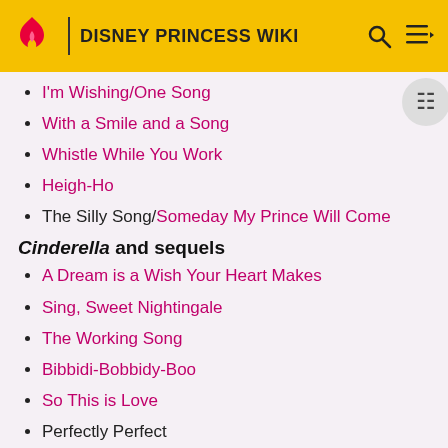DISNEY PRINCESS WIKI
I'm Wishing/One Song
With a Smile and a Song
Whistle While You Work
Heigh-Ho
The Silly Song/Someday My Prince Will Come
Cinderella and sequels
A Dream is a Wish Your Heart Makes
Sing, Sweet Nightingale
The Working Song
Bibbidi-Bobbidy-Boo
So This is Love
Perfectly Perfect
More Than a Dream
At The Ball...